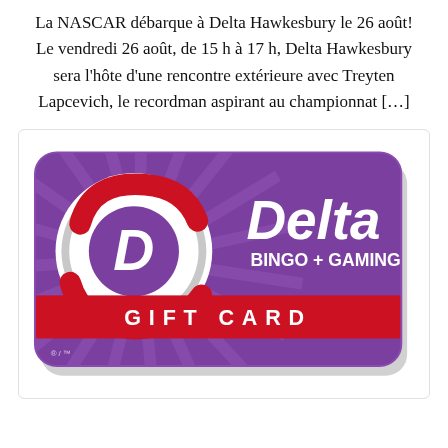La NASCAR débarque à Delta Hawkesbury le 26 août! Le vendredi 26 août, de 15 h à 17 h, Delta Hawkesbury sera l'hôte d'une rencontre extérieure avec Treyten Lapcevich, le recordman aspirant au championnat […]
[Figure (illustration): Delta Bingo + Gaming gift card. A purple rectangular card with rounded corners featuring a circular red-and-white logo with a stylized 'D', the word 'Delta' in large white italic text, 'BINGO + GAMING' in smaller white text, and a red banner across the bottom reading 'GIFT CARD' in white spaced letters. Background has purple sunburst rays.]